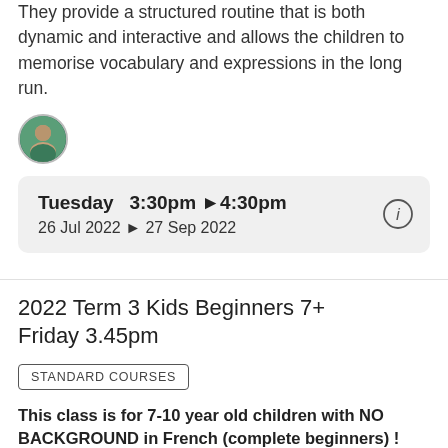They provide a structured routine that is both dynamic and interactive and allows the children to memorise vocabulary and expressions in the long run.
[Figure (photo): Small circular avatar photo of a person]
Tuesday  3:30pm ▶ 4:30pm
26 Jul 2022 ▶ 27 Sep 2022
2022 Term 3 Kids Beginners 7+ Friday 3.45pm
STANDARD COURSES
This class is for 7-10 year old children with NO BACKGROUND in French (complete beginners) !
Children learn French in a fun way through